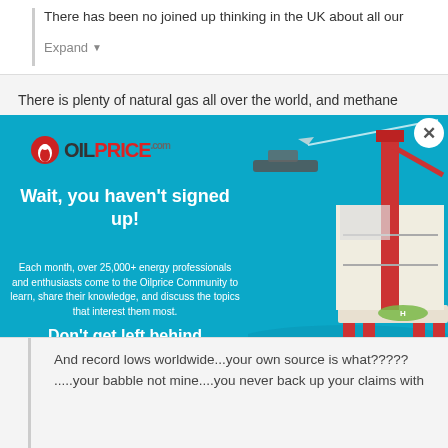There has been no joined up thinking in the UK about all our
Expand
There is plenty of natural gas all over the world, and methane
[Figure (screenshot): OilPrice.com popup advertisement modal with oil rig background image. Contains OilPrice logo, headline 'Wait, you haven't signed up!', subtext about 25,000+ energy professionals, 'Don't get left behind' call to action, and green 'Sign Up Today!' button. Close button (X) in upper right corner.]
And record lows worldwide...your own source is what?????
.....your babble not mine....you never back up your claims with